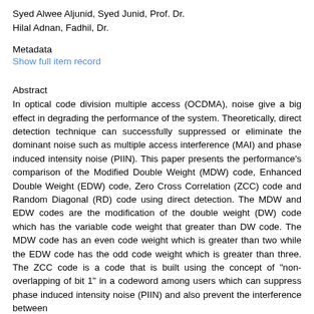Syed Alwee Aljunid, Syed Junid, Prof. Dr.
Hilal Adnan, Fadhil, Dr.
Metadata
Show full item record
Abstract
In optical code division multiple access (OCDMA), noise give a big effect in degrading the performance of the system. Theoretically, direct detection technique can successfully suppressed or eliminate the dominant noise such as multiple access interference (MAI) and phase induced intensity noise (PIIN). This paper presents the performance's comparison of the Modified Double Weight (MDW) code, Enhanced Double Weight (EDW) code, Zero Cross Correlation (ZCC) code and Random Diagonal (RD) code using direct detection. The MDW and EDW codes are the modification of the double weight (DW) code which has the variable code weight that greater than DW code. The MDW code has an even code weight which is greater than two while the EDW code has the odd code weight which is greater than three. The ZCC code is a code that is built using the concept of "non-overlapping of bit 1" in a codeword among users which can suppress phase induced intensity noise (PIIN) and also prevent the interference between